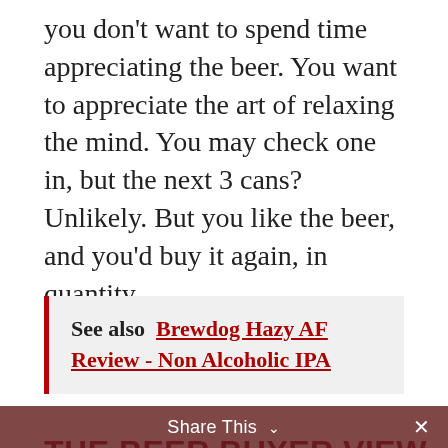you don't want to spend time appreciating the beer. You want to appreciate the art of relaxing the mind. You may check one in, but the next 3 cans? Unlikely. But you like the beer, and you'd buy it again, in quantity.
See also  Brewdog Hazy AF Review - Non Alcoholic IPA
THE BEER BUYER VIEW
Local to me is the Hop Stop Bottleshop, who as well as a their small Oxted-based beer shop, also have a beer bar in nearby
Share This ∨  ×